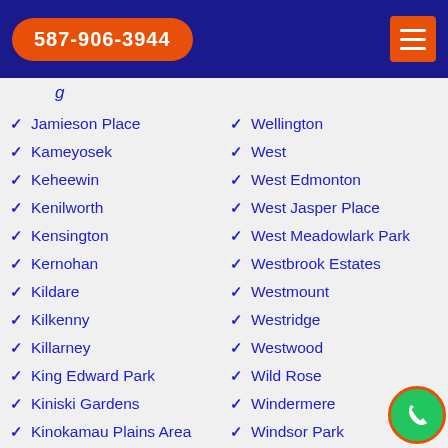587-906-3944
...g
Jamieson Place
Wellington
Kameyosek
West
Keheewin
West Edmonton
Kenilworth
West Jasper Place
Kensington
West Meadowlark Park
Kernohan
Westbrook Estates
Kildare
Westmount
Kilkenny
Westridge
Killarney
Westwood
King Edward Park
Wild Rose
Kiniski Gardens
Windermere
Kinokamau Plains Area
Windsor Park